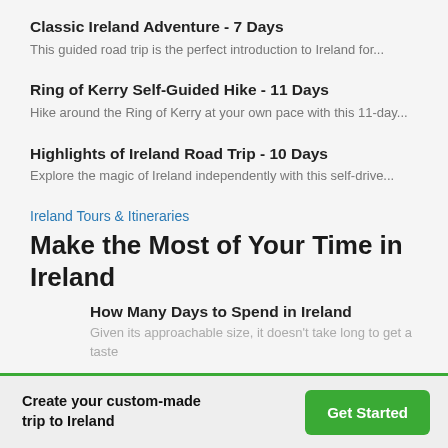Classic Ireland Adventure - 7 Days
This guided road trip is the perfect introduction to Ireland for...
Ring of Kerry Self-Guided Hike - 11 Days
Hike around the Ring of Kerry at your own pace with this 11-day...
Highlights of Ireland Road Trip - 10 Days
Explore the magic of Ireland independently with this self-drive...
Ireland Tours & Itineraries
Make the Most of Your Time in Ireland
How Many Days to Spend in Ireland
Given its approachable size, it doesn't take long to get a taste
Create your custom-made trip to Ireland